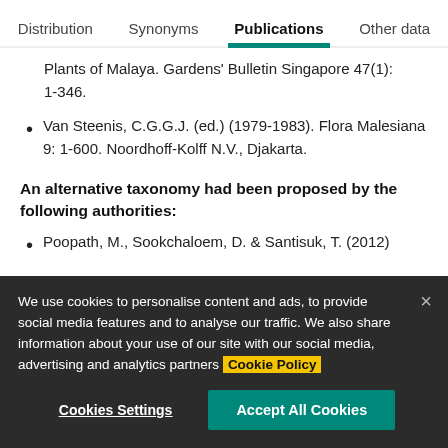Distribution | Synonyms | Publications | Other data
Plants of Malaya. Gardens' Bulletin Singapore 47(1): 1-346.
Van Steenis, C.G.G.J. (ed.) (1979-1983). Flora Malesiana 9: 1-600. Noordhoff-Kolff N.V., Djakarta.
An alternative taxonomy had been proposed by the following authorities:
Poopath, M., Sookchaloem, D. & Santisuk, T. (2012)
We use cookies to personalise content and ads, to provide social media features and to analyse our traffic. We also share information about your use of our site with our social media, advertising and analytics partners Cookie Policy
Cookies Settings | Accept All Cookies